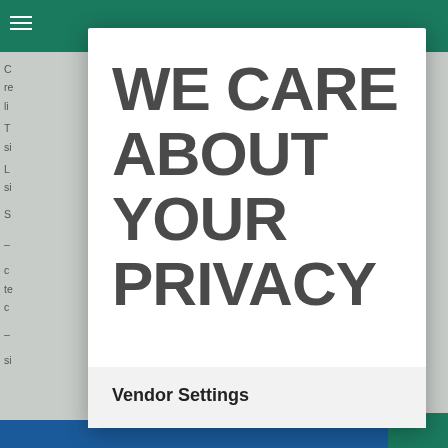[Figure (screenshot): Website screenshot showing a privacy consent modal overlay on a website. The background shows a green header navigation bar with hamburger menu icon and partially visible text content. A white modal dialog is centered with large bold text reading 'WE CARE ABOUT YOUR PRIVACY' and a footer section with 'Vendor Settings' link button.]
WE CARE ABOUT YOUR PRIVACY
Vendor Settings